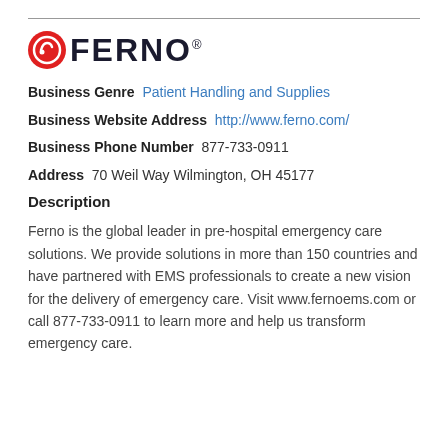[Figure (logo): Ferno logo with red circular icon and bold dark text 'FERNO' with registered trademark symbol]
Business Genre  Patient Handling and Supplies
Business Website Address  http://www.ferno.com/
Business Phone Number  877-733-0911
Address  70 Weil Way Wilmington, OH 45177
Description
Ferno is the global leader in pre-hospital emergency care solutions. We provide solutions in more than 150 countries and have partnered with EMS professionals to create a new vision for the delivery of emergency care. Visit www.fernoems.com or call 877-733-0911 to learn more and help us transform emergency care.